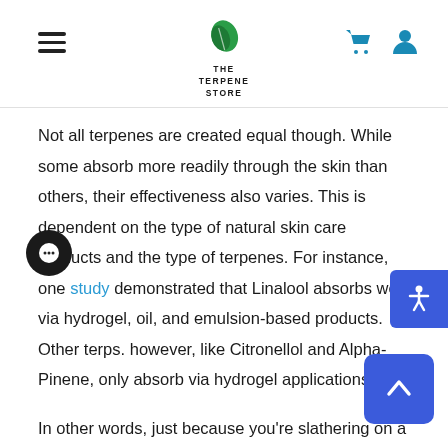The Terpene Store
Not all terpenes are created equal though. While some absorb more readily through the skin than others, their effectiveness also varies. This is dependent on the type of natural skin care products and the type of terpenes. For instance, one study demonstrated that Linalool absorbs well via hydrogel, oil, and emulsion-based products. Other terps. however, like Citronellol and Alpha-Pinene, only absorb via hydrogel applications. In other words, just because you're slathering on a